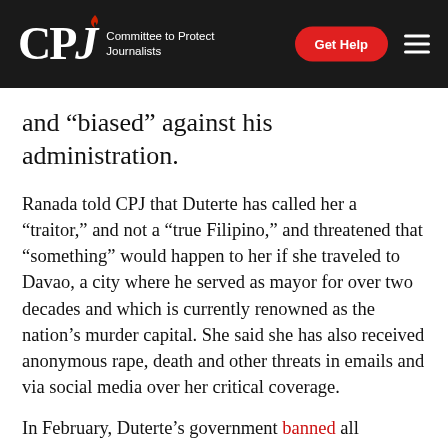CPJ — Committee to Protect Journalists | Get Help
and “biased” against his administration.
Ranada told CPJ that Duterte has called her a “traitor,” and not a “true Filipino,” and threatened that “something” would happen to her if she traveled to Davao, a city where he served as mayor for over two decades and which is currently renowned as the nation’s murder capital. She said she has also received anonymous rape, death and other threats in emails and via social media over her critical coverage.
In February, Duterte’s government banned all